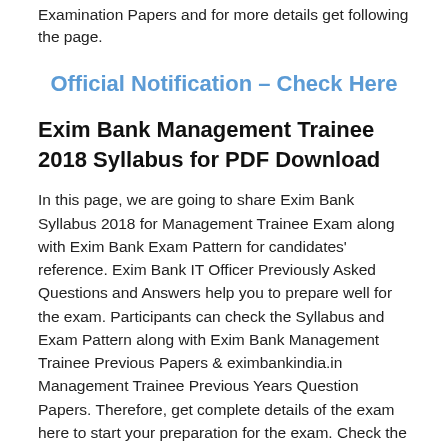Examination Papers and for more details get following the page.
Official Notification – Check Here
Exim Bank Management Trainee 2018 Syllabus for PDF Download
In this page, we are going to share Exim Bank Syllabus 2018 for Management Trainee Exam along with Exim Bank Exam Pattern for candidates' reference. Exim Bank IT Officer Previously Asked Questions and Answers help you to prepare well for the exam. Participants can check the Syllabus and Exam Pattern along with Exim Bank Management Trainee Previous Papers & eximbankindia.in Management Trainee Previous Years Question Papers. Therefore, get complete details of the exam here to start your preparation for the exam. Check the direct attachments of Exim Bank Management Trainee Syllabus 2018 for free download. Prepare hard for Exim Bank Examination and